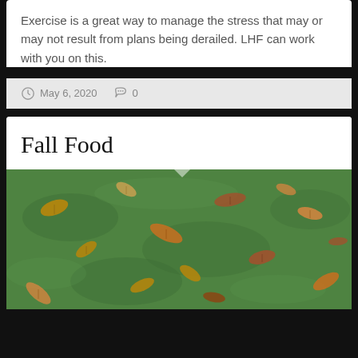Exercise is a great way to manage the stress that may or may not result from plans being derailed. LHF can work with you on this.
May 6, 2020   0
Fall Food
[Figure (photo): Photo of green grass with fallen brown autumn leaves scattered across it]